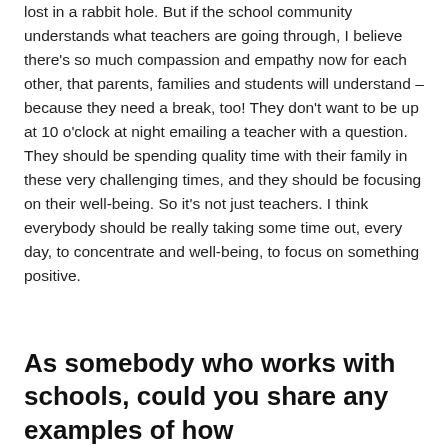lost in a rabbit hole. But if the school community understands what teachers are going through, I believe there's so much compassion and empathy now for each other, that parents, families and students will understand – because they need a break, too! They don't want to be up at 10 o'clock at night emailing a teacher with a question. They should be spending quality time with their family in these very challenging times, and they should be focusing on their well-being. So it's not just teachers. I think everybody should be really taking some time out, every day, to concentrate and well-being, to focus on something positive.
As somebody who works with schools, could you share any examples of how